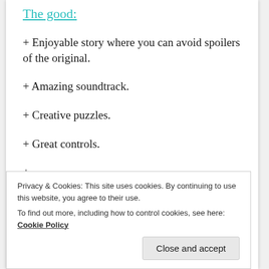The good:
+ Enjoyable story where you can avoid spoilers of the original.
+ Amazing soundtrack.
+ Creative puzzles.
+ Great controls.
+ ...
The bad:
Privacy & Cookies: This site uses cookies. By continuing to use this website, you agree to their use.
To find out more, including how to control cookies, see here: Cookie Policy
Close and accept